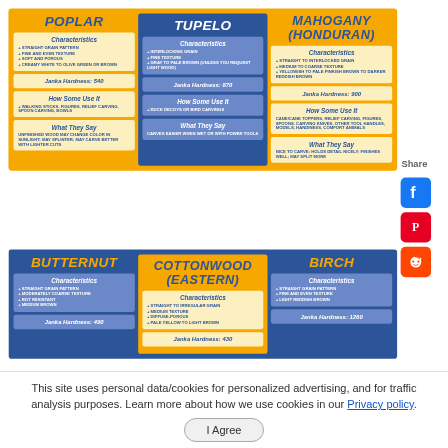POPLAR
TUPELO
MAHOGANY (HONDURAN)
Characteristics: STRAIGHT GRAIN PATTERN, FINE AND EVEN TEXTURE, SOFT AND POROUS, CREAMY WHITE TO OLIVE GREEN OR BROWN
Janka Hardness: 540
How Some Use It: WALKING STICKS, FIGURES, RELIEF CARVING, SPOON CARVING, BOWLS
What They Say: UNFINISHED WOOD MAY CHANGE COLOR IN SUNLIGHT; MAY SPLINTER; MAY CARVE BETTER WITH LIGHTER CUTS
Characteristics: INTERLOCKING GRAIN, FINE TEXTURE, GRAY TO PALE BROWN (UNLESS YOU REQUEST LIGHT WOOD)
Janka Hardness: 870
How Some Use It: DUCK DECOYS OR BIRD CARVINGS
What They Say: CARVES EASIER WHEN WET OR WITH POWER TOOLS
Characteristics: STRAIGHT TO INTERLOCKED GRAIN, MEDIUM TO COARSE TEXTURE, YELLOWISH TO PALE PINKISH BROWN TO DARKER REDDISH BROWN
Janka Hardness: 900
How Some Use It: CANE/CANE TOPPERS, RELIEF CARVING, FIGURES, SPOONS, CARVING KNIVES, OTHER TOOL HANDLES, MODELS, HANDINESS, COMFORT ANIMALS
What They Say: NICE TO CARVE; HOLDS DETAIL NICELY; FINISHES WELL; MAY SPLIT MORE
BUTTERNUT
COTTONWOOD (EASTERN)
BIRCH
Characteristics: STRAIGHT GRAIN PATTERN, MODERATELY COARSE TEXTURE, ROT RESISTANT, MEDIUM BROWN
Janka Hardness: 490
Characteristics: STRAIGHT TO IRREGULAR GRAIN, MEDIUM TEXTURE, DIFFUSE-POROUS, PALE YELLOW TO LIGHT BROWN
Janka Hardness: 430
Characteristics: STRAIGHT GRAIN PATTERN, FINE AND EVEN TEXTURE, LIGHT REDDISH BROWN
Janka Hardness: 1260
Share
This site uses personal data/cookies for personalized advertising, and for traffic analysis purposes. Learn more about how we use cookies in our Privacy policy.
I Agree